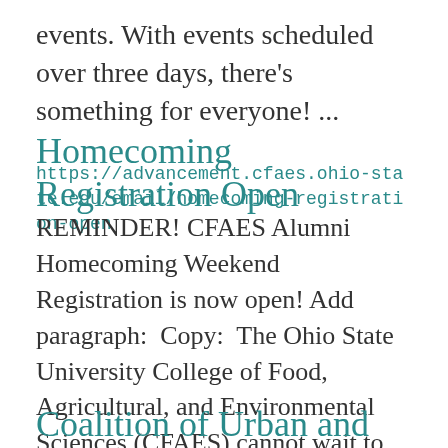events. With events scheduled over three days, there's something for everyone! ...
Homecoming Registration Open
https://advancement.cfaes.ohio-state.edu/email/homecoming-registration-open
REMINDER! CFAES Alumni Homecoming Weekend Registration is now open! Add paragraph:  Copy:  The Ohio State University College of Food, Agricultural, and Environmental Sciences (CFAES) cannot wait to celebrate Homecoming with you this year! This fun-filled ...
Coalition of Urban and